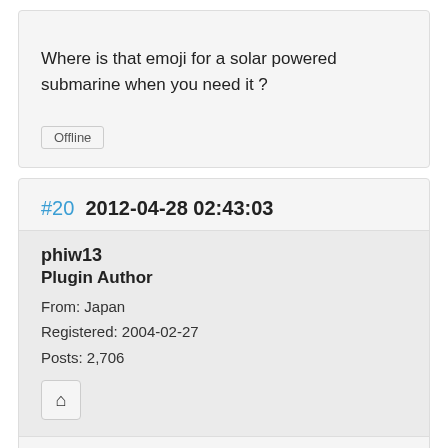Where is that emoji for a solar powered submarine when you need it ?
Offline
#20  2012-04-28 02:43:03
phiw13
Plugin Author
From: Japan
Registered: 2004-02-27
Posts: 2,706
phiw13 wrote: